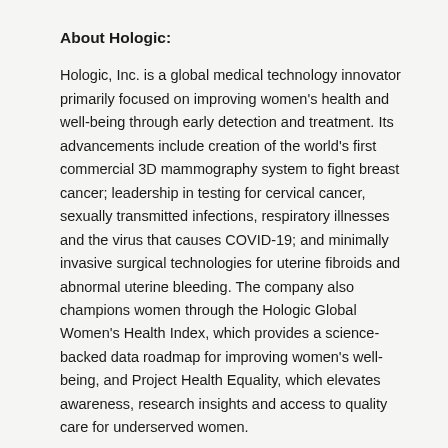About Hologic:
Hologic, Inc. is a global medical technology innovator primarily focused on improving women's health and well-being through early detection and treatment. Its advancements include creation of the world's first commercial 3D mammography system to fight breast cancer; leadership in testing for cervical cancer, sexually transmitted infections, respiratory illnesses and the virus that causes COVID-19; and minimally invasive surgical technologies for uterine fibroids and abnormal uterine bleeding. The company also champions women through the Hologic Global Women's Health Index, which provides a science-backed data roadmap for improving women's well-being, and Project Health Equality, which elevates awareness, research insights and access to quality care for underserved women.
Source: Hologic, Inc.